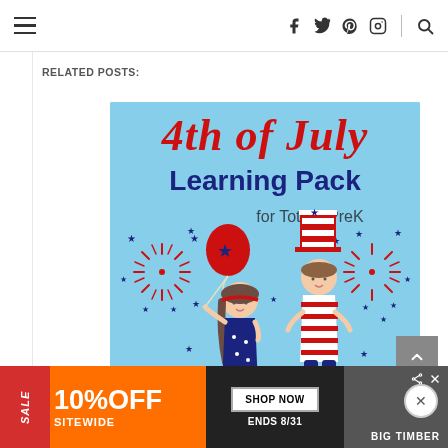Navigation bar with hamburger menu and social icons (Facebook, Twitter, Pinterest, Instagram, Search)
RELATED POSTS:
[Figure (illustration): 4th of July Learning Pack for Tots & PreK — promotional educational illustration with red text '4th of July', blue text 'Learning Pack', smaller text 'for Tots & PreK', cartoon children (girl in star-print dress holding a red balloon, boy in striped shirt and Uncle Sam hat), red fireworks and blue stars on light blue background.]
[Figure (infographic): Bottom advertisement banner: orange background with SALE tag, '10% OFF SITEWIDE', 'SHOP NOW' button, 'ENDS 8/31', and BIG TIMBER brand image on right with share/close icons.]